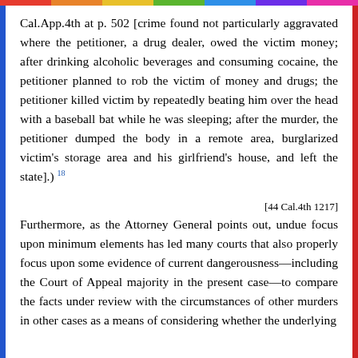Cal.App.4th at p. 502 [crime found not particularly aggravated where the petitioner, a drug dealer, owed the victim money; after drinking alcoholic beverages and consuming cocaine, the petitioner planned to rob the victim of money and drugs; the petitioner killed victim by repeatedly beating him over the head with a baseball bat while he was sleeping; after the murder, the petitioner dumped the body in a remote area, burglarized victim's storage area and his girlfriend's house, and left the state].) 18
[44 Cal.4th 1217]
Furthermore, as the Attorney General points out, undue focus upon minimum elements has led many courts that also properly focus upon some evidence of current dangerousness—including the Court of Appeal majority in the present case—to compare the facts under review with the circumstances of other murders in other cases as a means of considering whether the underlying